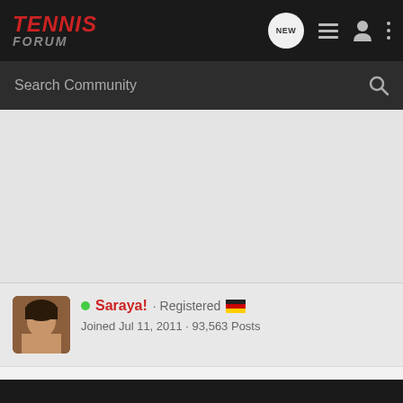TENNIS FORUM
Search Community
Saraya! · Registered · Joined Jul 11, 2011 · 93,563 Posts
#753 · Jun 26, 2022